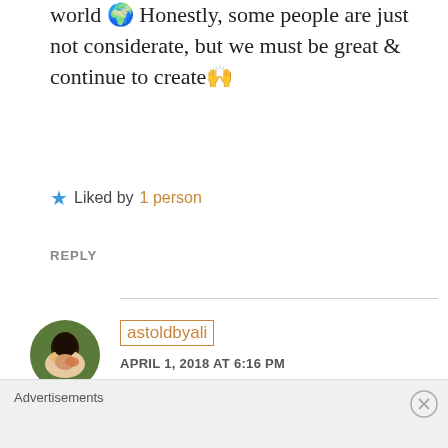world 🌍 Honestly, some people are just not considerate, but we must be great & continue to create🙌
★ Liked by 1 person
REPLY
astoldbyali
APRIL 1, 2018 AT 6:16 PM
I agree!! I still get that feeling to this day depending on the type of post. Continue to
Advertisements